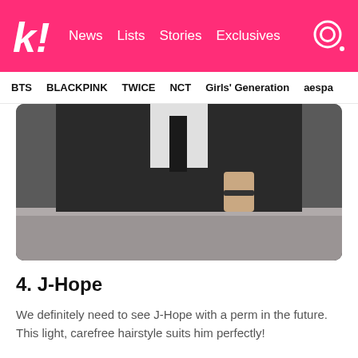k! News Lists Stories Exclusives
BTS BLACKPINK TWICE NCT Girls' Generation aespa
[Figure (photo): Photo of a person wearing a black blazer/suit, hand visible with bracelet, leaning on a stone or concrete ledge]
4. J-Hope
We definitely need to see J-Hope with a perm in the future. This light, carefree hairstyle suits him perfectly!
[Figure (photo): Partial photo showing the top of a figure with light brown/orange fluffy permed hair against a beige/cream background]